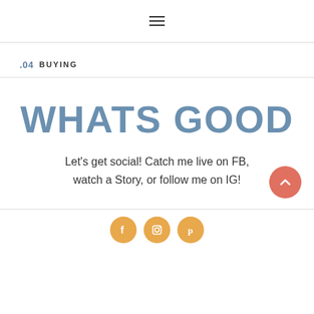hamburger menu icon
.04 BUYING
WHATS GOOD
Let's get social! Catch me live on FB, watch a Story, or follow me on IG!
[Figure (infographic): Social media icons: Facebook, Instagram, Pinterest in orange circles]